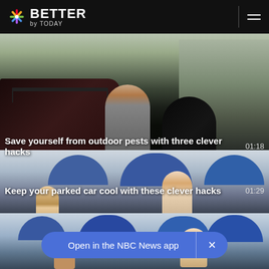BETTER by TODAY
[Figure (screenshot): Video thumbnail showing a man standing near a red SUV and a dark tent, outdoor setting. Title: Save yourself from outdoor pests with three clever hacks. Duration: 01:18]
Save yourself from outdoor pests with three clever hacks  01:18
[Figure (screenshot): Video thumbnail showing outdoor pool/beach scene with blue umbrellas and people. Title: Keep your parked car cool with these clever hacks. Duration: 01:29]
Keep your parked car cool with these clever hacks  01:29
[Figure (screenshot): Video thumbnail showing outdoor pool scene with blue umbrellas]
Open in the NBC News app